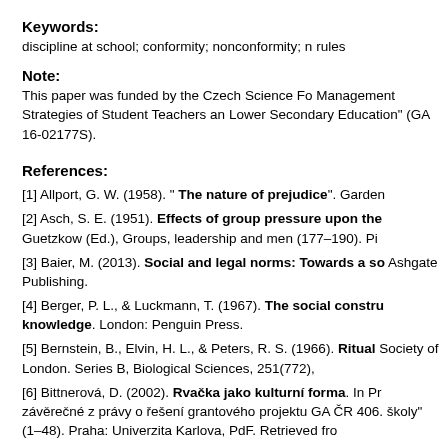Keywords:
discipline at school; conformity; nonconformity; n rules
Note:
This paper was funded by the Czech Science Fo Management Strategies of Student Teachers an Lower Secondary Education" (GA 16-02177S).
References:
[1] Allport, G. W. (1958). " The nature of prejudice". Garden
[2] Asch, S. E. (1951). Effects of group pressure upon the Guetzkow (Ed.), Groups, leadership and men (177–190). Pi
[3] Baier, M. (2013). Social and legal norms: Towards a so Ashgate Publishing.
[4] Berger, P. L., & Luckmann, T. (1967). The social constru knowledge. London: Penguin Press.
[5] Bernstein, B., Elvin, H. L., & Peters, R. S. (1966). Ritual Society of London. Series B, Biological Sciences, 251(772),
[6] Bittnerová, D. (2002). Rvačka jako kulturní forma. In Pr závěrečné z právy o řešení grantového projektu GA ČR 406. školy" (1–48). Praha: Univerzita Karlova, PdF. Retrieved fro
[7] Bourdieu, P. (1998). Teorie jednání. Praha: Karolinum.
[8] Bourdieu, P., & Passeron J.-C. (1990). Reproduction in